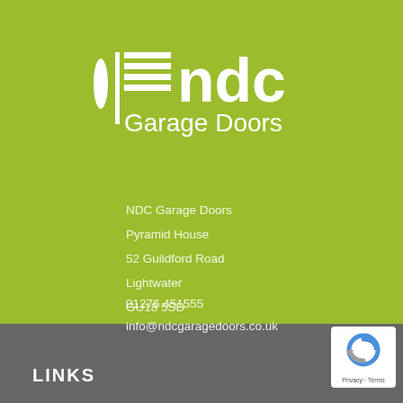[Figure (logo): NDC Garage Doors logo — white garage door icon and flame/drop shape on left, 'ndc' in large white sans-serif text, 'Garage Doors' in white below on lime-green background]
NDC Garage Doors
Pyramid House
52 Guildford Road
Lightwater
GU18 5SD
01276 451555
info@ndcgaragedoors.co.uk
LINKS
[Figure (logo): reCAPTCHA badge — white box with blue/grey arrow-cycle icon and 'Privacy · Terms' text]